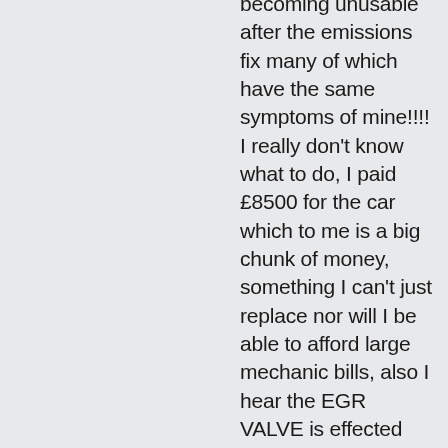becoming unusable after the emissions fix many of which have the same symptoms of mine!!!! I really don't know what to do, I paid £8500 for the car which to me is a big chunk of money, something I can't just replace nor will I be able to afford large mechanic bills, also I hear the EGR VALVE is effected and I just paid out £600 to have that fixed less than 12 months ago!!!!! I'm going to be contacting the VW dealer that carried out the emissions update in the morning any advice will be